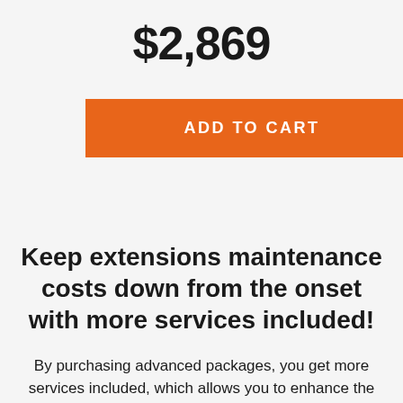$2,869
[Figure (other): Orange 'ADD TO CART' button]
Keep extensions maintenance costs down from the onset with more services included!
By purchasing advanced packages, you get more services included, which allows you to enhance the